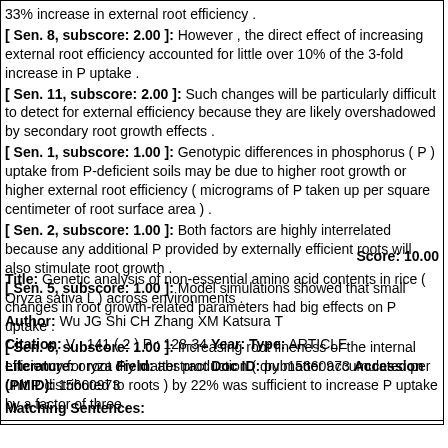33% increase in external root efficiency .
[ Sen. 8, subscore: 2.00 ]: However , the direct effect of increasing external root efficiency accounted for little over 10% of the 3-fold increase in P uptake .
[ Sen. 11, subscore: 2.00 ]: Such changes will be particularly difficult to detect for external efficiency because they are likely overshadowed by secondary root growth effects .
[ Sen. 1, subscore: 1.00 ]: Genotypic differences in phosphorus ( P ) uptake from P-deficient soils may be due to higher root growth or higher external root efficiency ( micrograms of P taken up per square centimeter of root surface area ) .
[ Sen. 2, subscore: 1.00 ]: Both factors are highly interrelated because any additional P provided by externally efficient roots will also stimulate root growth .
[ Sen. 5, subscore: 1.00 ]: Model simulations showed that small changes in root growth-related parameters had big effects on P uptake .
[ Sen. 6, subscore: 1.00 ]: Increasing root fineness or the internal efficiency for root dry matter production ( dry matter accumulated per unit P distributed to roots ) by 22% was sufficient to increase P uptake by a factor of three .
Score: 10.00
Title: Genetic analysis of non-essential amino acid contents in rice ( Oryza sativa L ) across environments .
Author: Wu JG Shi CH Zhang XM Katsura T
Citation: V : 141 ( 2 ) P : 128-34 Year: Type: ARTICLE
Literature: oryza Field: abstract Doc ID: pub15660973 Accession (PMID): 15660973
Matching Sentences: